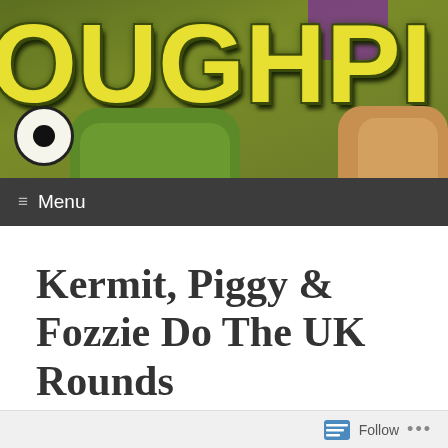[Figure (illustration): Colorful cartoon/muppet website header banner showing large yellow bubble letters on olive-green background with puppet characters along the bottom]
≡ Menu
Kermit, Piggy & Fozzie Do The UK Rounds
Jarrod Fairclough / February 26, 2018
Jarrod Fairclough – Hey UK! Did you know The